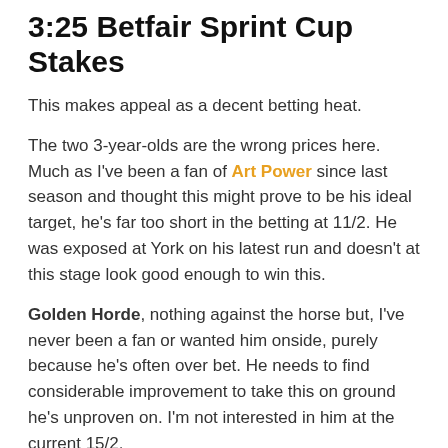3:25 Betfair Sprint Cup Stakes
This makes appeal as a decent betting heat.
The two 3-year-olds are the wrong prices here. Much as I've been a fan of Art Power since last season and thought this might prove to be his ideal target, he's far too short in the betting at 11/2. He was exposed at York on his latest run and doesn't at this stage look good enough to win this.
Golden Horde, nothing against the horse but, I've never been a fan or wanted him onside, purely because he's often over bet. He needs to find considerable improvement to take this on ground he's unproven on. I'm not interested in him at the current 15/2.